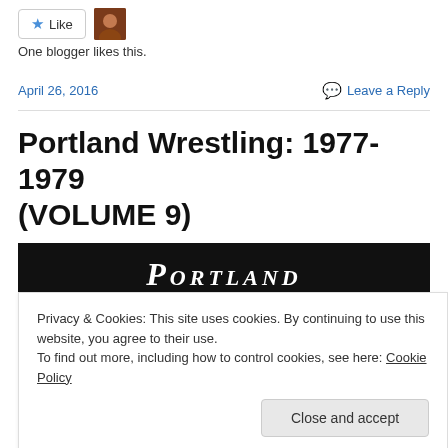[Figure (other): Like button with star icon and user avatar thumbnail]
One blogger likes this.
April 26, 2016
Leave a Reply
Portland Wrestling: 1977-1979 (VOLUME 9)
[Figure (screenshot): Black banner image with large italic white text reading PORTLAND]
Privacy & Cookies: This site uses cookies. By continuing to use this website, you agree to their use.
To find out more, including how to control cookies, see here: Cookie Policy
Close and accept